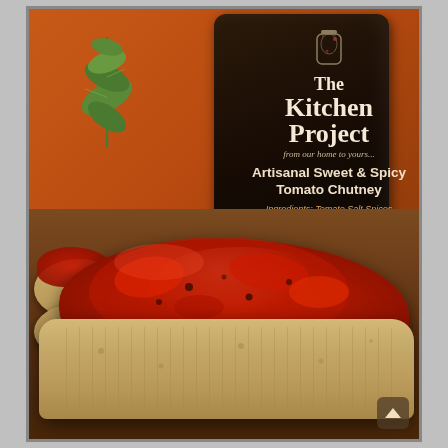[Figure (photo): Product photo of 'The Kitchen Project' Artisanal Sweet & Spicy Tomato Chutney jar, with crackers topped with red chutney in the foreground on a wooden board, herb leaves in the background, warm orange-brown tones. Jar label reads: 'The Kitchen Project, from our home to yours... Artisanal Sweet & Spicy Tomato Chutney. Ingredients: Tomato Salt Spices Sugar Vinegar Ginger Red Chilli'.]